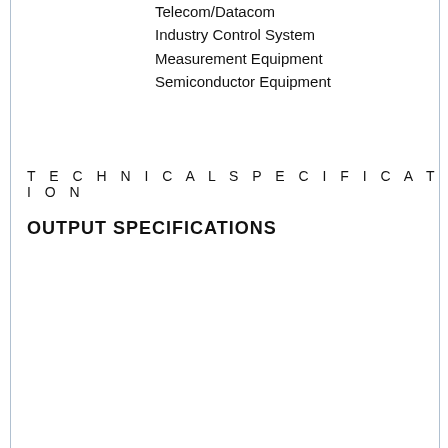Telecom/Datacom
Industry Control System
Measurement Equipment
Semiconductor Equipment
T E C H N I C A L S P E C I F I C A T I O N
OUTPUT SPECIFICATIONS
| Parameter | Condition | Notes |
| --- | --- | --- |
| Output power |  |  |
| Voltage accuracy |  |  |
| Minimum load |  |  |
| Line regulation | LL to HL at Full Load |  |
| Load regulation | No Load to Full Load | Single
Dual |
| Cross regulation(Dual) | Asymmetrical load 25% / 100% FL |  |
| Ripple and noise | 20MHz bandwidth |  |
| Temperature coefficient |  | ± |
| Transient response recovery time 25% load step change |  |  |
| Over load protection | % of FL at nominal input |  |
| Short circuit protection |  | Continuous, autor |